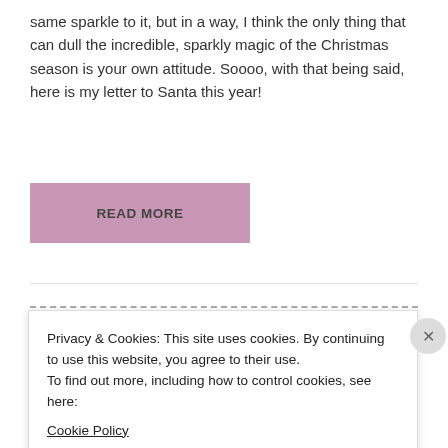same sparkle to it, but in a way, I think the only thing that can dull the incredible, sparkly magic of the Christmas season is your own attitude. Soooo, with that being said, here is my letter to Santa this year!
READ MORE
Privacy & Cookies: This site uses cookies. By continuing to use this website, you agree to their use.
To find out more, including how to control cookies, see here:
Cookie Policy
CLOSE AND ACCEPT